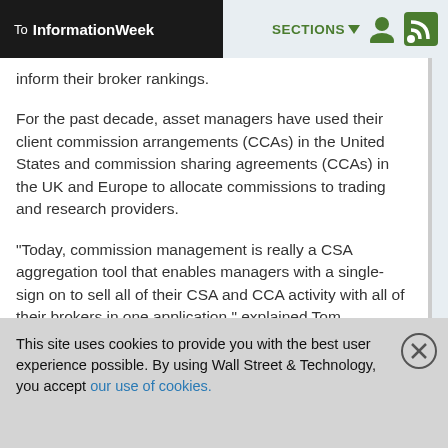To InformationWeek  SECTIONS
inform their broker rankings.

For the past decade, asset managers have used their client commission arrangements (CCAs) in the United States and commission sharing agreements (CCAs) in the UK and Europe to allocate commissions to trading and research providers.

"Today, commission management is really a CSA aggregation tool that enables managers with a single-sign on to sell all of their CSA and CCA activity with all of their brokers in one application," explained Tom Conigliaro, managing director and head of the Trading Services Group at Markit.
This site uses cookies to provide you with the best user experience possible. By using Wall Street & Technology, you accept our use of cookies.